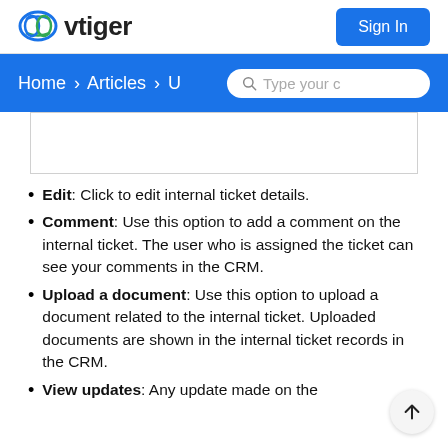vtiger | Sign In
Home > Articles > U
[Figure (screenshot): A blank white content box with a border, appearing to be a screenshot placeholder area.]
Edit: Click to edit internal ticket details.
Comment: Use this option to add a comment on the internal ticket. The user who is assigned the ticket can see your comments in the CRM.
Upload a document: Use this option to upload a document related to the internal ticket. Uploaded documents are shown in the internal ticket records in the CRM.
View updates: Any update made on the